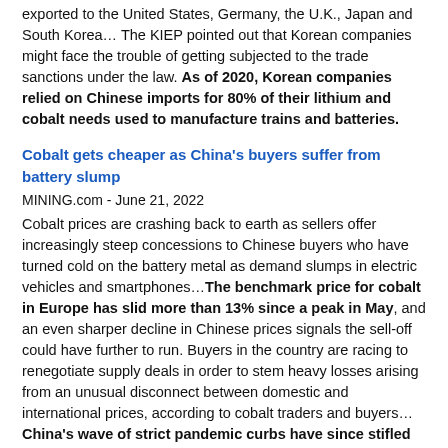exported to the United States, Germany, the U.K., Japan and South Korea… The KIEP pointed out that Korean companies might face the trouble of getting subjected to the trade sanctions under the law. As of 2020, Korean companies relied on Chinese imports for 80% of their lithium and cobalt needs used to manufacture trains and batteries.
Cobalt gets cheaper as China's buyers suffer from battery slump
MINING.com - June 21, 2022
Cobalt prices are crashing back to earth as sellers offer increasingly steep concessions to Chinese buyers who have turned cold on the battery metal as demand slumps in electric vehicles and smartphones…The benchmark price for cobalt in Europe has slid more than 13% since a peak in May, and an even sharper decline in Chinese prices signals the sell-off could have further to run. Buyers in the country are racing to renegotiate supply deals in order to stem heavy losses arising from an unusual disconnect between domestic and international prices, according to cobalt traders and buyers…China's wave of strict pandemic curbs have since stifled cobalt's main markets, with President Xi Jinping's steadfast pursuit of zero-Covid ravaging manufacturing and consumer activity…Lockdown-hit Shanghai registered zero car sales in April, reflecting the kind of ructions throughout the EV supply chain that have left China's cobalt refiners exposed to losses on expensive imported raw materials. Buyers have walked away from similarly onerous supply deals in the past, and this time miners are granting significant concessions on prices to keep cobalt flowing into the all-important Chinese market, according to traders and buyers who asked not to be identified…